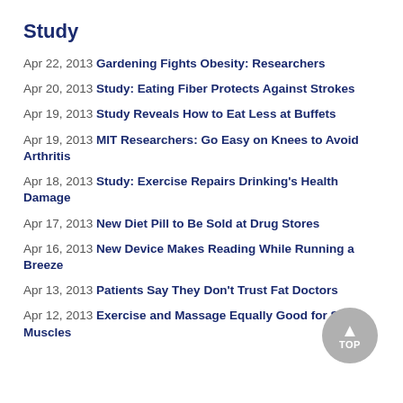Study
Apr 22, 2013 Gardening Fights Obesity: Researchers
Apr 20, 2013 Study: Eating Fiber Protects Against Strokes
Apr 19, 2013 Study Reveals How to Eat Less at Buffets
Apr 19, 2013 MIT Researchers: Go Easy on Knees to Avoid Arthritis
Apr 18, 2013 Study: Exercise Repairs Drinking's Health Damage
Apr 17, 2013 New Diet Pill to Be Sold at Drug Stores
Apr 16, 2013 New Device Makes Reading While Running a Breeze
Apr 13, 2013 Patients Say They Don't Trust Fat Doctors
Apr 12, 2013 Exercise and Massage Equally Good for Sore Muscles